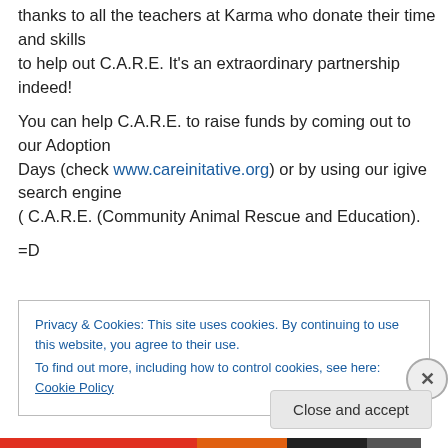thanks to all the teachers at Karma who donate their time and skills to help out C.A.R.E. It's an extraordinary partnership indeed!
You can help C.A.R.E. to raise funds by coming out to our Adoption Days (check www.careinitative.org) or by using our igive search engine ( C.A.R.E. (Community Animal Rescue and Education).
=D
Privacy & Cookies: This site uses cookies. By continuing to use this website, you agree to their use.
To find out more, including how to control cookies, see here: Cookie Policy
Close and accept